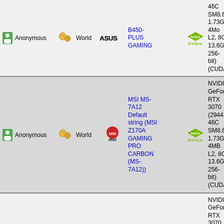| User | World | Brand | Motherboard | GPU Brand | GPU |
| --- | --- | --- | --- | --- | --- |
| Anonymous | World | ASUS | B450-PLUS GAMING | NVIDIA | GeForce RTX 3070 (2944S 46C SM8.6 1.73GHz, 4Mo L2, 8Go 13.6GHz 256-bit) (CUDA) |
| Anonymous | World | MSI | MSI MS-7A12 Default string (MSI Z170A GAMING PRO CARBON (MS-7A12)) | NVIDIA | NVIDIA GeForce RTX 3070 (2944S 46C SM8.6 1.73GHz, 4MB L2, 8GB 13.6GHz 256-bit) (CUDA) |
| Anonymous | World | GigaByte | GigaByte B550M AORUS ELITE B550 MB | NVIDIA | NVIDIA GeForce RTX 3070 (2944S 46C SM8.6 1.73ГГц, 4Мб L2, 8Гб 13.6ГГц 256-бит) (CUDA) |
0 - 5 (226)  Next > End
News | Reviews | Privacy | Licence | Contact
All trademarks acknowledged. Used for identification only under fair use. E. ...
© SiSoftware 1995-Present. All Rights Reserved.  Original (British) Eng...